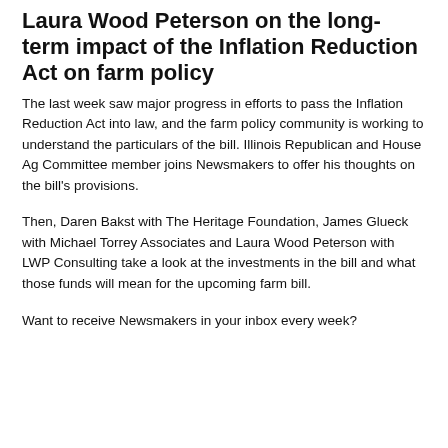Laura Wood Peterson on the long-term impact of the Inflation Reduction Act on farm policy
The last week saw major progress in efforts to pass the Inflation Reduction Act into law, and the farm policy community is working to understand the particulars of the bill. Illinois Republican and House Ag Committee member joins Newsmakers to offer his thoughts on the bill's provisions.
Then, Daren Bakst with The Heritage Foundation, James Glueck with Michael Torrey Associates and Laura Wood Peterson with LWP Consulting take a look at the investments in the bill and what those funds will mean for the upcoming farm bill.
Want to receive Newsmakers in your inbox every week?